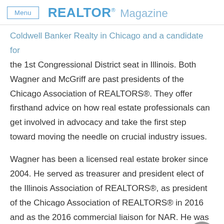Menu | REALTOR® Magazine
Coldwell Banker Realty in Chicago and a candidate for the 1st Congressional District seat in Illinois. Both Wagner and McGriff are past presidents of the Chicago Association of REALTORS®. They offer firsthand advice on how real estate professionals can get involved in advocacy and take the first step toward moving the needle on crucial industry issues.
Wagner has been a licensed real estate broker since 2004. He served as treasurer and president elect of the Illinois Association of REALTORS®, as president of the Chicago Association of REALTORS® in 2016 and as the 2016 commercial liaison for NAR. He was named 2017 REALTOR® of the Year by the Chicago Association of REALTORS® and received the 2017